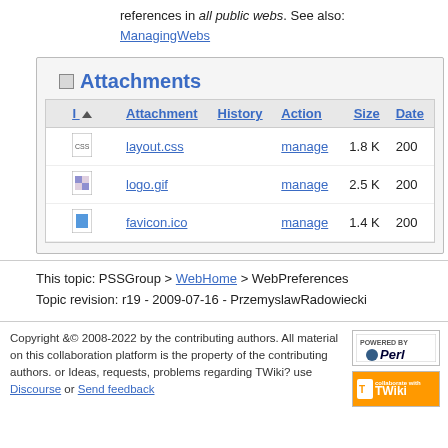references in all public webs. See also: ManagingWebs
| I | Attachment | History | Action | Size | Date |
| --- | --- | --- | --- | --- | --- |
| [css icon] | layout.css |  | manage | 1.8 K | 200... |
| [gif icon] | logo.gif |  | manage | 2.5 K | 200... |
| [ico icon] | favicon.ico |  | manage | 1.4 K | 200... |
This topic: PSSGroup > WebHome > WebPreferences
Topic revision: r19 - 2009-07-16 - PrzemyslawRadowiecki
Copyright &© 2008-2022 by the contributing authors. All material on this collaboration platform is the property of the contributing authors. or Ideas, requests, problems regarding TWiki? use Discourse or Send feedback